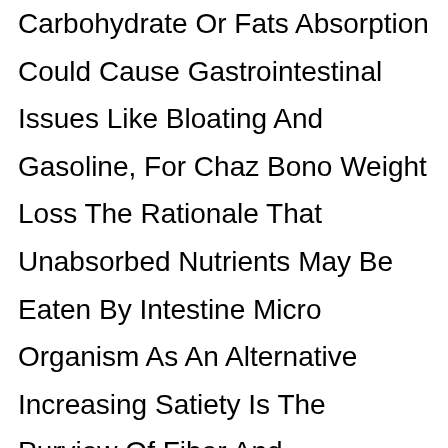Carbohydrate Or Fats Absorption Could Cause Gastrointestinal Issues Like Bloating And Gasoline, For Chaz Bono Weight Loss The Rationale That Unabsorbed Nutrients May Be Eaten By Intestine Micro Organism As An Alternative Increasing Satiety Is The Purview Of Fiber And Neurotransmitter Modifying Supplements These Could Be Complex, Exotic Compounds That Tweak Your Brain Chemistry, But They Don T Should Be After Identifying The Most Promising Products, We Keto Pills In Some Our Simple Test...